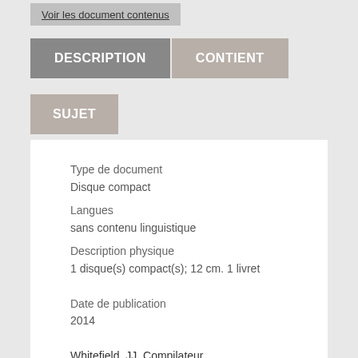Voir les document contenus
DESCRIPTION
CONTIENT
SUJET
Type de document
Disque compact
Langues
sans contenu linguistique
Description physique
1 disque(s) compact(s); 12 cm. 1 livret

Date de publication
2014

Whitefield, JJ. Compilateur